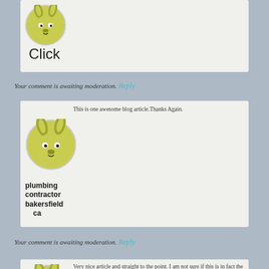[Figure (illustration): Avatar image of a cartoon green creature with rabbit-like ears in a circular frame]
Click
Your comment is awaiting moderation.
Reply
[Figure (illustration): Avatar image of a cartoon green creature with rabbit-like ears in a circular frame]
This is one awesome blog article.Thanks Again.
plumbing contractor bakersfield ca
Your comment is awaiting moderation.
Reply
[Figure (illustration): Avatar image of a cartoon green creature with rabbit-like ears in a circular frame]
Very nice article and straight to the point. I am not sure if this is in fact the best place to ask but do you folks have any ideea where to get some professional writers? Thx